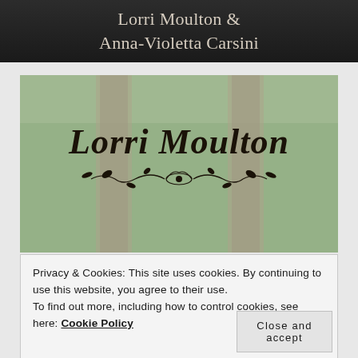Lorri Moulton & Anna-Violetta Carsini
[Figure (illustration): Website banner image showing 'Lorri Moulton' in gothic/blackletter font with decorative floral divider, over a blurred outdoor background with stone pillars]
Privacy & Cookies: This site uses cookies. By continuing to use this website, you agree to their use.
To find out more, including how to control cookies, see here: Cookie Policy
Close and accept